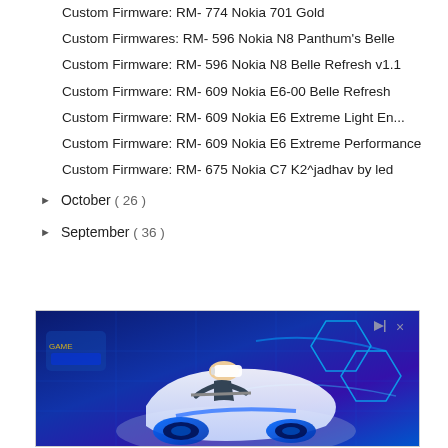Custom Firmware: RM- 774 Nokia 701 Gold
Custom Firmwares: RM- 596 Nokia N8 Panthum's Belle
Custom Firmware: RM- 596 Nokia N8 Belle Refresh v1.1
Custom Firmware: RM- 609 Nokia E6-00 Belle Refresh
Custom Firmware: RM- 609 Nokia E6 Extreme Light En...
Custom Firmware: RM- 609 Nokia E6 Extreme Performance
Custom Firmware: RM- 675 Nokia C7 K2^jadhav by led
October ( 26 )
September ( 36 )
[Figure (photo): Advertisement photo showing a person wearing a VR headset riding a futuristic white and blue vehicle/pod in a neon-lit virtual reality environment. Small play icon and X button visible in top right corner of the ad.]